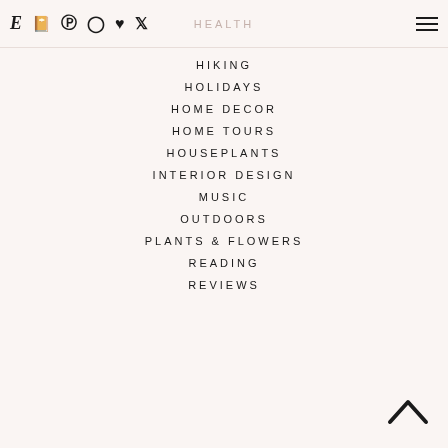HEALTH
HIKING
HOLIDAYS
HOME DECOR
HOME TOURS
HOUSEPLANTS
INTERIOR DESIGN
MUSIC
OUTDOORS
PLANTS & FLOWERS
READING
REVIEWS